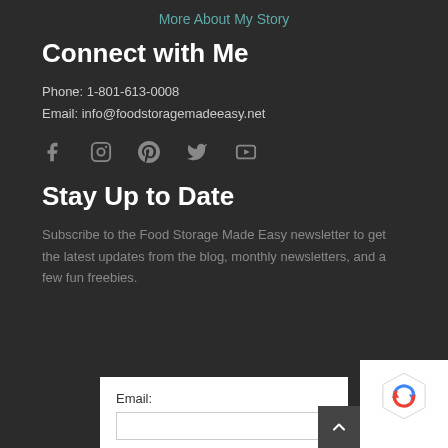More About My Story
Connect with Me
Phone: 1-801-613-0008
Email: info@foodstoragemadeeasy.net
[Figure (infographic): Social media icons: Facebook, Instagram, Pinterest, Twitter, YouTube]
Stay Up to Date
Subscribe to the Food Storage Made Easy newsletter to get the latest updates from the blog, monthly newsletters, and a few fun freebies.
Email: